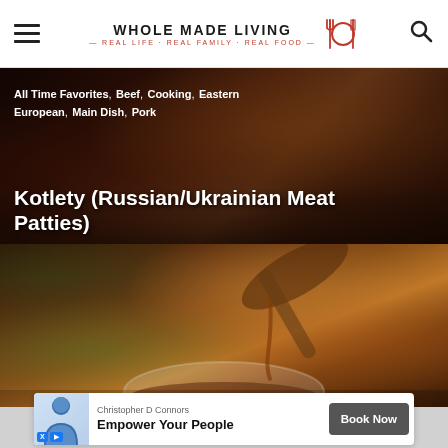Whole Made Living — Real Life · Real Family · Real Food
All Time Favorites , Beef , Cooking , Eastern European , Main Dish , Pork
Kotlety (Russian/Ukrainian Meat Patties)
[Figure (photo): Close-up photo of a spoon dripping dark savory sauce into a white bowl, with food items blurred in the background]
Christopher D Connors
Empower Your People
Book Now